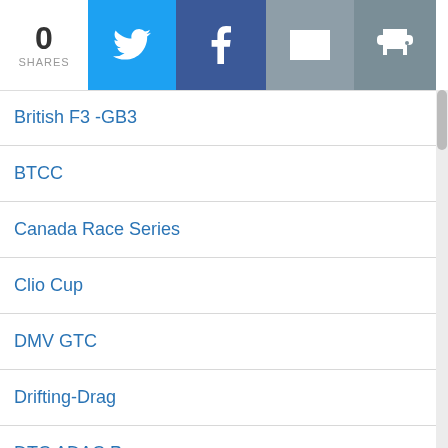0 SHARES | Twitter | Facebook | Email | Print
British F3 -GB3
BTCC
Canada Race Series
Clio Cup
DMV GTC
Drifting-Drag
DTC ADAC Procar
DTM-Series
Electric Car Racing Series
Esports-ESL-SIM
European Le Mans Series
Formula1
FIA Formula2
FIA F3 Championship
F3 Championships
Formula 4
ABB FIA Formula E